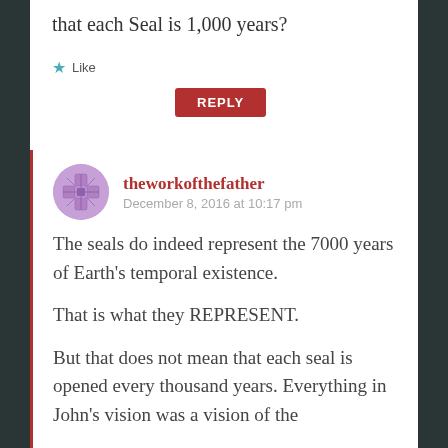that each Seal is 1,000 years?
★ Like
REPLY
theworkofthefather
December 8, 2016 at 10:17 pm
The seals do indeed represent the 7000 years of Earth's temporal existence.
That is what they REPRESENT.
But that does not mean that each seal is opened every thousand years. Everything in John's vision was a vision of the future. I believe the seals represent the